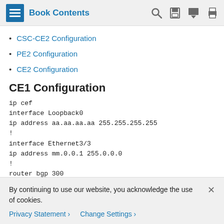Book Contents
CSC-CE2 Configuration
PE2 Configuration
CE2 Configuration
CE1 Configuration
ip cef
interface Loopback0
ip address aa.aa.aa.aa 255.255.255.255
!
interface Ethernet3/3
ip address mm.0.0.1 255.0.0.0
!
router bgp 300
no synchronization
By continuing to use our website, you acknowledge the use of cookies.
Privacy Statement > Change Settings >